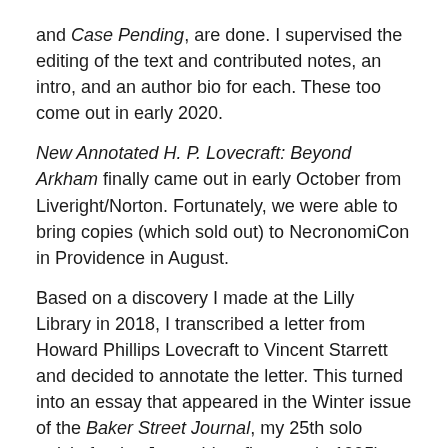and Case Pending, are done. I supervised the editing of the text and contributed notes, an intro, and an author bio for each. These too come out in early 2020.
New Annotated H. P. Lovecraft: Beyond Arkham finally came out in early October from Liveright/Norton. Fortunately, we were able to bring copies (which sold out) to NecronomiCon in Providence in August.
Based on a discovery I made at the Lilly Library in 2018, I transcribed a letter from Howard Phillips Lovecraft to Vincent Starrett and decided to annotate the letter. This turned into an essay that appeared in the Winter issue of the Baker Street Journal, my 25th solo article for the Journal (my first was in 1995).
I wrote a short essay on “The Empty House” for my Christmas booklet (for the BSI Dinner) and, to my surprise, got tapped to write a toast to Mycroft Holmes for the Dinner.